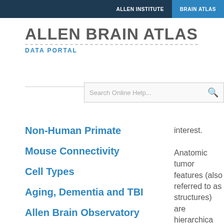ALLEN INSTITUTE | BRAIN ATLAS
ALLEN BRAIN ATLAS
DATA PORTAL
[Figure (screenshot): Search Online Help... input box with magnifying glass icon]
Non-Human Primate
Mouse Connectivity
Cell Types
Aging, Dementia and TBI
Allen Brain Observatory
interest.

Anathomic tumor features (also referred to as structures) are hierarchically organized